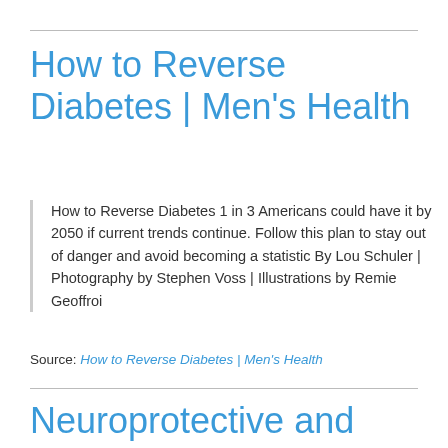How to Reverse Diabetes | Men's Health
How to Reverse Diabetes 1 in 3 Americans could have it by 2050 if current trends continue. Follow this plan to stay out of danger and avoid becoming a statistic By Lou Schuler | Photography by Stephen Voss | Illustrations by Remie Geoffroi
Source: How to Reverse Diabetes | Men's Health
Neuroprotective and